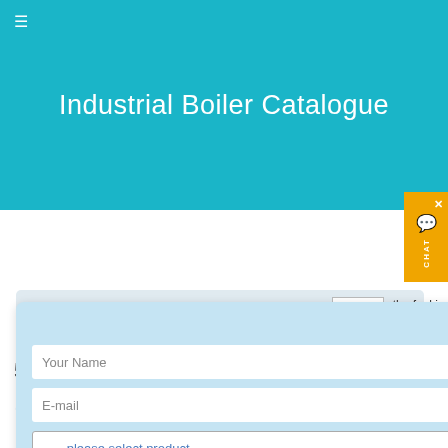Industrial Boiler Catalogue
[Figure (screenshot): Website screenshot showing a contact/inquiry modal form overlay on an Industrial Boiler Catalogue website. The header is teal/cyan with the site title. A light blue modal dialog contains fields: Your Name, E-mail, a product selector dropdown, a capacity field, a More information section, and a Submit button. Behind the modal is a gray form area with partially visible text about fuel, pressure, email, and number. An orange CHAT widget is visible on the right edge. Below is an article title '5 ton/h 12 bar wood powder boiler' with author Jenny Wu, date 2016-04-01, and No Comments.]
5 ton/h 12 bar wood powder boiler
Jenny Wu   2016-04-01   No Comments